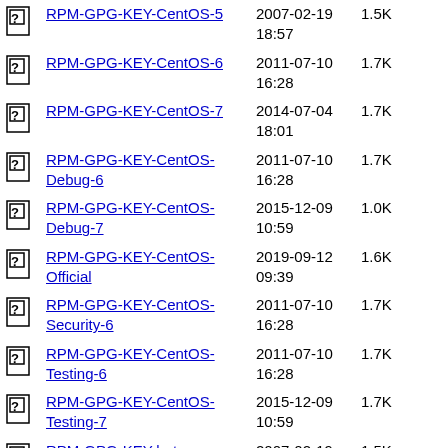RPM-GPG-KEY-CentOS-5  2007-02-19 18:57  1.5K
RPM-GPG-KEY-CentOS-6  2011-07-10 16:28  1.7K
RPM-GPG-KEY-CentOS-7  2014-07-04 18:01  1.7K
RPM-GPG-KEY-CentOS-Debug-6  2011-07-10 16:28  1.7K
RPM-GPG-KEY-CentOS-Debug-7  2015-12-09 10:59  1.0K
RPM-GPG-KEY-CentOS-Official  2019-09-12 09:39  1.6K
RPM-GPG-KEY-CentOS-Security-6  2011-07-10 16:28  1.7K
RPM-GPG-KEY-CentOS-Testing-6  2011-07-10 16:28  1.7K
RPM-GPG-KEY-CentOS-Testing-7  2015-12-09 10:59  1.7K
RPM-GPG-KEY-beta  2007-02-19 18:56  1.5K
RPM-GPG-KEY-centos4  2005-02-26 18:51  1.8K
TIME  2022-08-31  11